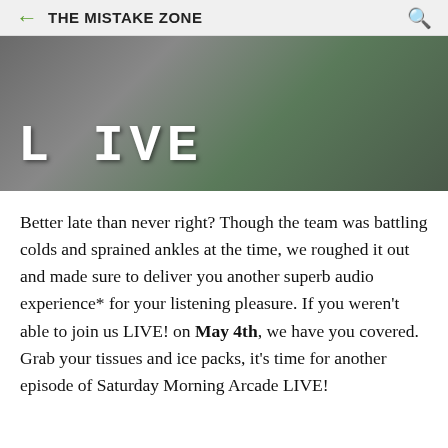THE MISTAKE ZONE
[Figure (photo): A dark image showing people with the word LIVE in large white block letters at the bottom left]
Better late than never right? Though the team was battling colds and sprained ankles at the time, we roughed it out and made sure to deliver you another superb audio experience* for your listening pleasure. If you weren't able to join us LIVE! on May 4th, we have you covered. Grab your tissues and ice packs, it's time for another episode of Saturday Morning Arcade LIVE!